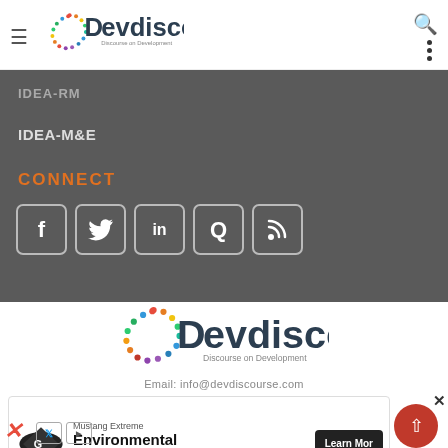Devdiscourse – Discourse on Development
IDEA-RM
IDEA-M&E
CONNECT
[Figure (other): Social media icon buttons: Facebook, Twitter, LinkedIn, Quora, RSS]
[Figure (logo): Devdiscourse logo – Discourse on Development]
Email: info@devdiscourse.com
[Figure (other): Advertisement banner: Mustang Extreme Environmental Liners – Learn More button]